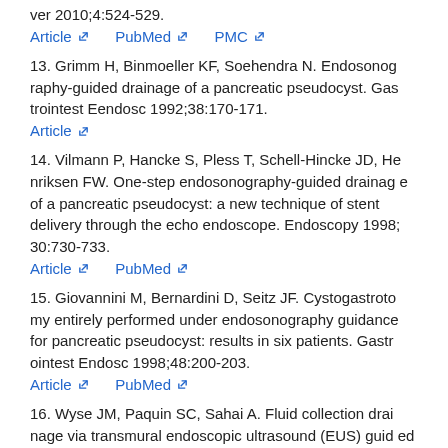ver 2010;4:524-529.
Article  PubMed  PMC
13. Grimm H, Binmoeller KF, Soehendra N. Endosonography-guided drainage of a pancreatic pseudocyst. Gastrointest Eendosc 1992;38:170-171.
Article
14. Vilmann P, Hancke S, Pless T, Schell-Hincke JD, Henriksen FW. One-step endosonography-guided drainage of a pancreatic pseudocyst: a new technique of stent delivery through the echo endoscope. Endoscopy 1998;30:730-733.
Article  PubMed
15. Giovannini M, Bernardini D, Seitz JF. Cystogastrotomy entirely performed under endosonography guidance for pancreatic pseudocyst: results in six patients. Gastrointest Endosc 1998;48:200-203.
Article  PubMed
16. Wyse JM, Paquin SC, Sahai A. Fluid collection drainage via transmural endoscopic ultrasound (EUS) guided insertion of multiple stents without fluoroscopic assis